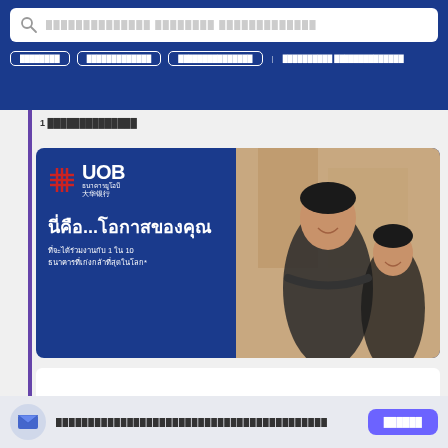[Figure (screenshot): UOB bank advertisement webpage screenshot showing search bar, navigation buttons, breadcrumb, ad banner with Thai text 'นี่คือ...โอกาสของคุณ' and UOB logo, plus footer with email signup]
1 [breadcrumb navigation]
[Figure (photo): UOB bank advertisement banner: blue background with UOB logo (hash grid + UOB text in Thai and Chinese), headline 'นี่คือ...โอกาสของคุณ' (This is your opportunity), subtext about joining 1 in 10 world-class banks, photo of two smiling business professionals]
[Figure (logo): UOB logo in white card: red hash grid icon, 'UOB' text in navy blue, Thai text 'ธนาคารยูโอบี']
[Footer email subscription text in Thai]
[Subscribe/สมัคร button]